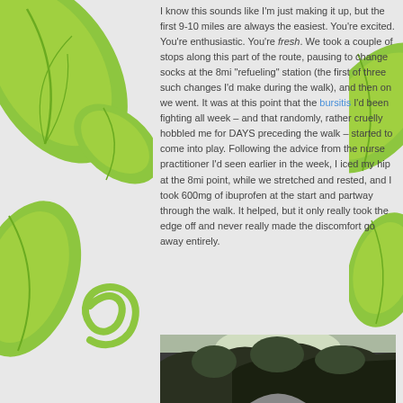[Figure (illustration): Decorative green leaf and swirl design on left side of page background]
[Figure (illustration): Decorative green leaf design on right side of page background]
I know this sounds like I'm just making it up, but the first 9-10 miles are always the easiest. You're excited. You're enthusiastic. You're fresh. We took a couple of stops along this part of the route, pausing to change socks at the 8mi "refueling" station (the first of three such changes I'd make during the walk), and then on we went. It was at this point that the bursitis I'd been fighting all week – and that randomly, rather cruelly hobbled me for DAYS preceding the walk – started to come into play. Following the advice from the nurse practitioner I'd seen earlier in the week, I iced my hip at the 8mi point, while we stretched and rested, and I took 600mg of ibuprofen at the start and partway through the walk. It helped, but it only really took the edge off and never really made the discomfort go away entirely.
[Figure (photo): Outdoor photo showing trees and path, partially visible at bottom of page]